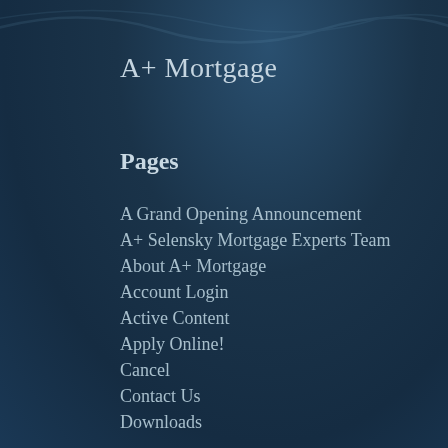A+ Mortgage
Pages
A Grand Opening Announcement
A+ Selensky Mortgage Experts Team
About A+ Mortgage
Account Login
Active Content
Apply Online!
Cancel
Contact Us
Downloads
Education & Tools
Electronic Documents
File Uploads
Loan Officers
Logout
Mortgage Programs
My Account